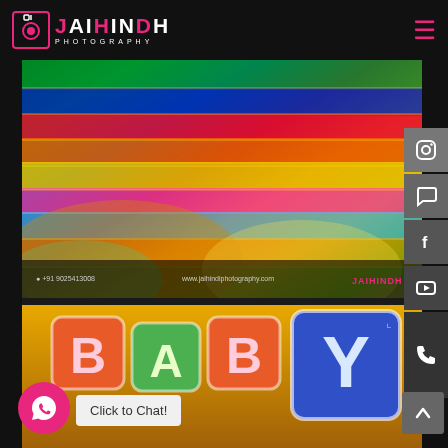Jai Hindi Photography
[Figure (photo): Colorful bangles/bracelets arranged in rows, showing vibrant rainbow colors including green, blue, red, orange, pink and yellow.]
[Figure (photo): Baby shower themed photo with colorful alphabet building blocks spelling BABY BOY on an orange background.]